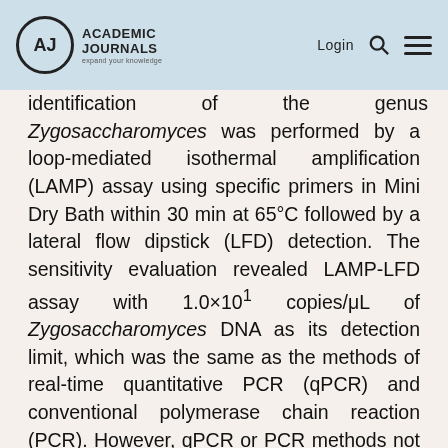Academic Journals — Login
identification of the genus Zygosaccharomyces was performed by a loop-mediated isothermal amplification (LAMP) assay using specific primers in Mini Dry Bath within 30 min at 65°C followed by a lateral flow dipstick (LFD) detection. The sensitivity evaluation revealed LAMP-LFD assay with 1.0×10¹ copies/μL of Zygosaccharomyces DNA as its detection limit, which was the same as the methods of real-time quantitative PCR (qPCR) and conventional polymerase chain reaction (PCR). However, qPCR or PCR methods not only need to be performed in a specialist analytical laboratory with expensive